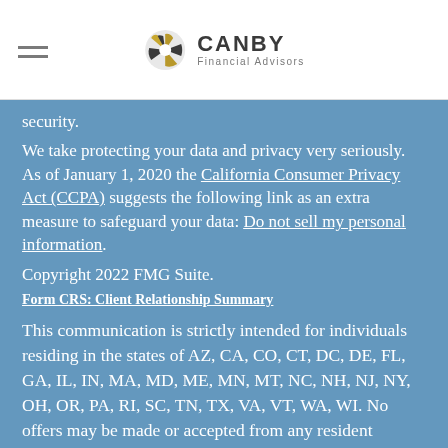CANBY Financial Advisors
security. We take protecting your data and privacy very seriously. As of January 1, 2020 the California Consumer Privacy Act (CCPA) suggests the following link as an extra measure to safeguard your data: Do not sell my personal information.
Copyright 2022 FMG Suite.
Form CRS: Client Relationship Summary
This communication is strictly intended for individuals residing in the states of AZ, CA, CO, CT, DC, DE, FL, GA, IL, IN, MA, MD, ME, MN, MT, NC, NH, NJ, NY, OH, OR, PA, RI, SC, TN, TX, VA, VT, WA, WI. No offers may be made or accepted from any resident outside these states due to various state